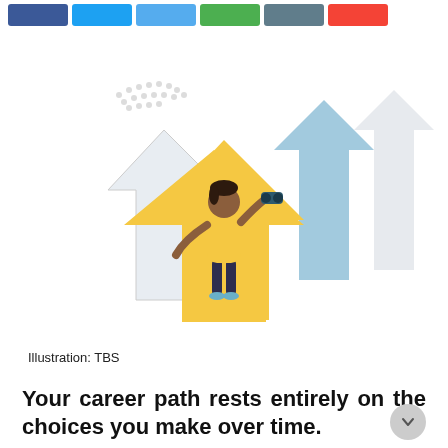[Figure (illustration): Social media share buttons in blue (Facebook, Twitter), light blue, green, grey, and red/orange colors arranged horizontally at top]
[Figure (illustration): Illustration of a person (woman in yellow top and dark pants) standing on top of upward-pointing arrows, looking through binoculars. Multiple arrows in gold/yellow, white, light blue, and light grey point upward to the right, representing career growth paths. A dotted cloud shape appears in the upper left background.]
Illustration: TBS
Your career path rests entirely on the choices you make over time.